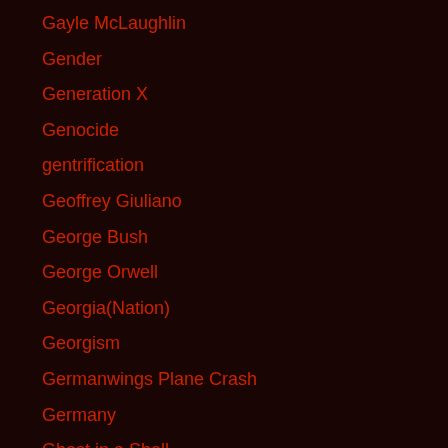Gayle McLaughlin
Gender
Generation X
Genocide
gentrification
Geoffrey Giuliano
George Bush
George Orwell
Georgia(Nation)
Georgism
Germanwings Plane Crash
Germany
Ghost in a Shell
Ghost Writing
Gilbert Gottfried